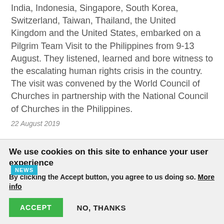India, Indonesia, Singapore, South Korea, Switzerland, Taiwan, Thailand, the United Kingdom and the United States, embarked on a Pilgrim Team Visit to the Philippines from 9-13 August. They listened, learned and bore witness to the escalating human rights crisis in the country. The visit was convened by the World Council of Churches in partnership with the National Council of Churches in the Philippines.
22 August 2019
[Figure (photo): Dark outdoor/nature photo with a NEWS badge overlay in cyan/teal color at top left]
We use cookies on this site to enhance your user experience
By clicking the Accept button, you agree to us doing so. More info
ACCEPT   NO, THANKS